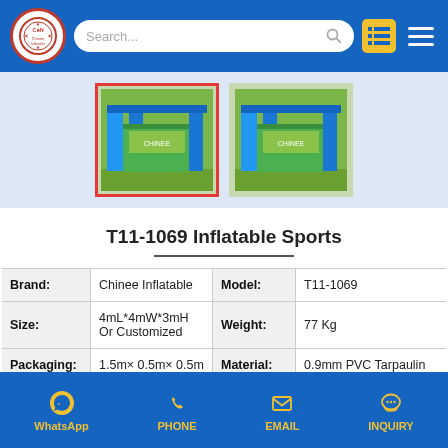Chinee Inflatable - Search header with navigation icons
[Figure (photo): Two product thumbnail images of an inflatable sports structure (green with blue pillars), left thumbnail has red border (selected), right has no border.]
T11-1069 Inflatable Sports
| Label | Value | Label | Value |
| --- | --- | --- | --- |
| Brand: | Chinee Inflatable | Model: | T11-1069 |
| Size: | 4mL*4mW*3mH Or Customized | Weight: | 77 Kg |
| Packaging: | 1.5m× 0.5m× 0.5m | Material: | 0.9mm PVC Tarpaulin |
WhatsApp  PHONE  EMAIL  INQUIRY